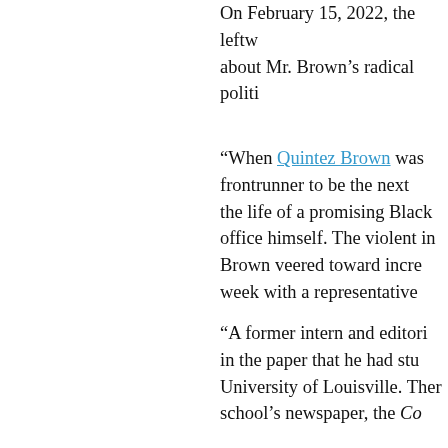On February 15, 2022, the leftw about Mr. Brown’s radical politi
“When Quintez Brown was frontrunner to be the next the life of a promising Black office himself. The violent in Brown veered toward incre week with a representative
“A former intern and editori in the paper that he had stu University of Louisville. Ther school’s newspaper, the Co